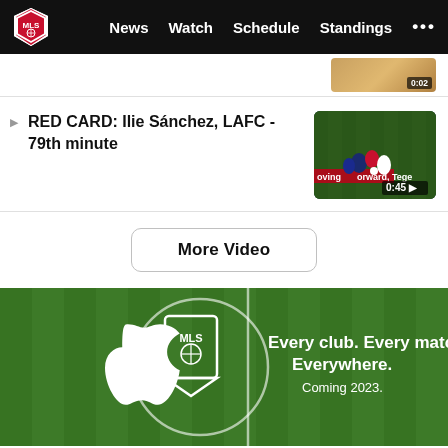MLS | News  Watch  Schedule  Standings  ...
[Figure (screenshot): Partial soccer video thumbnail with timestamp 0:02]
RED CARD: Ilie Sánchez, LAFC - 79th minute
[Figure (screenshot): Soccer match video thumbnail showing players on field with 0:45 timestamp]
More Video
[Figure (illustration): Apple TV+ and MLS partnership banner on green grass field background with Apple logo and MLS shield logo. Text: Every club. Every match. Everywhere. Coming 2023.]